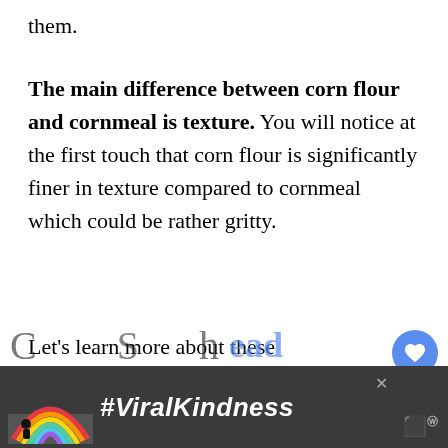them.
The main difference between corn flour and cornmeal is texture. You will notice at the first touch that corn flour is significantly finer in texture compared to cornmeal which could be rather gritty.
Let's learn more about these ingredients below!
[Figure (screenshot): Ad banner with rainbow illustration and #ViralKindness hashtag on dark background]